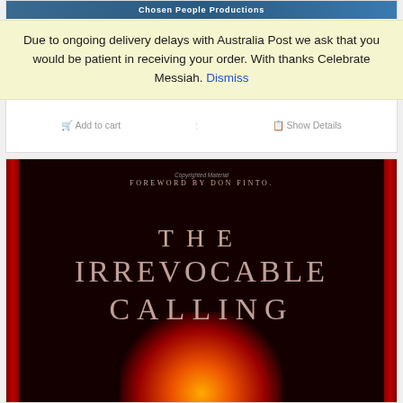[Figure (screenshot): Top of an e-commerce product page showing a banner image with 'Chosen People Productions' text, a price of $15.00, and Add to cart / Show Details buttons.]
Due to ongoing delivery delays with Australia Post we ask that you would be patient in receiving your order. With thanks Celebrate Messiah. Dismiss
[Figure (photo): Book cover for 'The Irrevocable Calling' with foreword by Don Finto. Dark red/maroon background with 'Copyrighted Material' watermark. Red borders on sides, glowing light at bottom.]